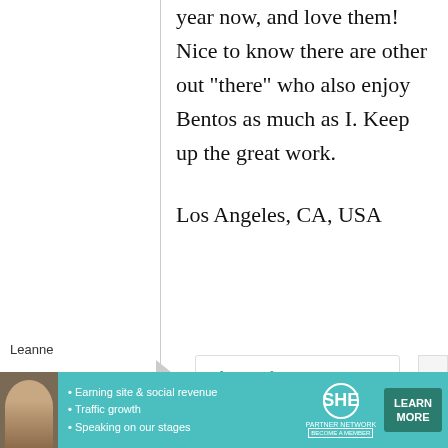year now, and love them! Nice to know there are other out "there" who also enjoy Bentos as much as I. Keep up the great work.

Los Angeles, CA, USA
Leanne
1
thank
[Figure (infographic): Advertisement banner for SHE Partner Network with teal background, featuring a woman photo, bullet points about earning site & social revenue, traffic growth, speaking on stages, SHE logo, and a Learn More button.]